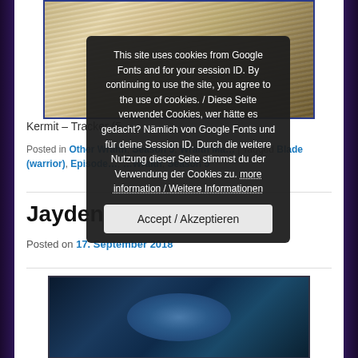[Figure (photo): Close-up photo of an animal with long white/grey fur or hair, with a blue border frame.]
Kermit – Tracker (5…
Posted in Other Wraith, Season 5, Wraith Ma… | Tagged Blade (warrior), Episode…, …Wraith, Season 5
[Figure (screenshot): Cookie consent overlay popup with dark background. Text: 'This site uses cookies from Google Fonts and for your session ID. By continuing to use the site, you agree to the use of cookies. / Diese Seite verwendet Cookies, wer hätte es gedacht? Nämlich von Google Fonts und für deine Session ID. Durch die weitere Nutzung dieser Seite stimmst du der Verwendung der Cookies zu. more information / Weitere Informationen' with an Accept / Akzeptieren button.]
Jayden
Posted on 17. September 2018
[Figure (photo): Partial photo showing what appears to be a blue/dark colored jellyfish or similar marine creature.]